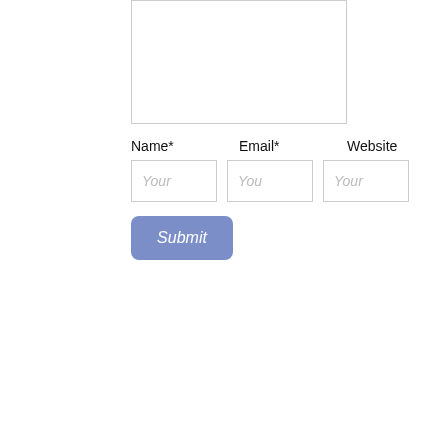[Figure (screenshot): A web form fragment showing a textarea (large empty text input box at top), then three labeled input fields in a row: Name* (required), Email* (required), Website, each with placeholder text ('Your', 'You', 'Your'), and a blue Submit button below.]